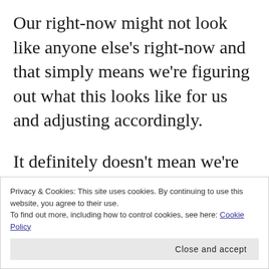Our right-now might not look like anyone else's right-now and that simply means we're figuring out what this looks like for us and adjusting accordingly.
It definitely doesn't mean we're any less-than or more-than.
I'm confident, someday everything will make perfect sense.
Privacy & Cookies: This site uses cookies. By continuing to use this website, you agree to their use. To find out more, including how to control cookies, see here: Cookie Policy
Close and accept